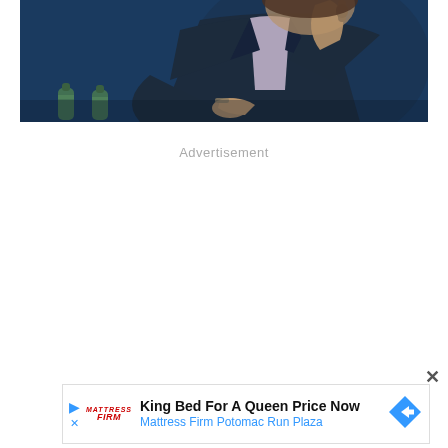[Figure (photo): A person in a dark navy suit holding a microphone, speaking at a panel event. The background is dark blue. Two water bottles are visible in the lower left. The photo is cropped showing the upper body and hands of the speaker.]
Advertisement
[Figure (screenshot): An advertisement banner for Mattress Firm. Headline: 'King Bed For A Queen Price Now'. Subtext: 'Mattress Firm Potomac Run Plaza'. Includes a Mattress Firm logo, a play/close icon on the left, and a blue diamond-shaped arrow icon on the right.]